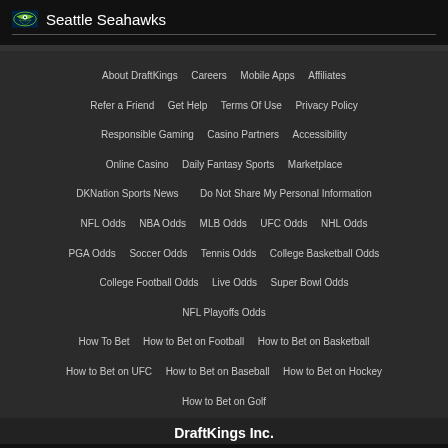Seattle Seahawks
About DraftKings  Careers  Mobile Apps  Affiliates  Refer a Friend  Get Help  Terms Of Use  Privacy Policy  Responsible Gaming  Casino Partners  Accessibility  Online Casino  Daily Fantasy Sports  Marketplace  DKNation Sports News  Do Not Share My Personal Information  NFL Odds  NBA Odds  MLB Odds  UFC Odds  NHL Odds  PGA Odds  Soccer Odds  Tennis Odds  College Basketball Odds  College Football Odds  Live Odds  Super Bowl Odds  NFL Playoffs Odds  How To Bet  How to Bet on Football  How to Bet on Basketball  How to Bet on UFC  How to Bet on Baseball  How to Bet on Hockey  How to Bet on Golf
DraftKings Inc.
Server Time: 08/28/2022 5:19:59 p.m.